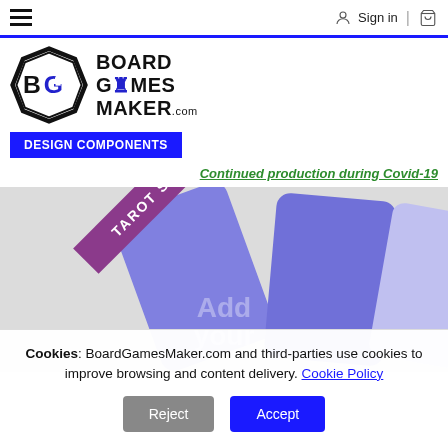BoardGamesMaker.com — Sign in | Cart navigation bar
[Figure (logo): Board Games Maker logo: hexagonal gear icon with BG letters inside, next to bold text BOARD GAMES MAKER.com]
DESIGN COMPONENTS
Continued production during Covid-19
[Figure (photo): Product photo showing tarot-size playing cards in purple/blue color with 'TAROT SIZE' banner label. Cards are shown fanned out on a light grey background with 'Add your design' text overlay.]
Cookies: BoardGamesMaker.com and third-parties use cookies to improve browsing and content delivery. Cookie Policy
Reject
Accept